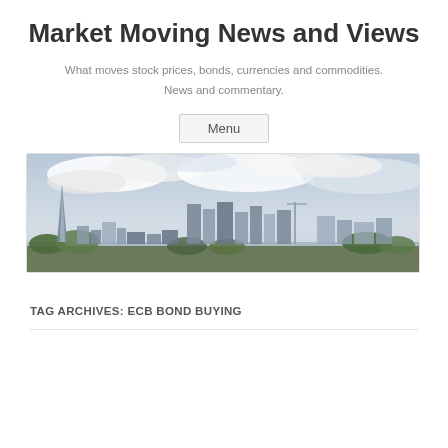Market Moving News and Views
What moves stock prices, bonds, currencies and commodities.
News and commentary.
Menu
[Figure (photo): Panoramic photograph of the London city skyline showing skyscrapers including The Shard on the left, with a cloudy sky above and greenery in the foreground.]
TAG ARCHIVES: ECB BOND BUYING